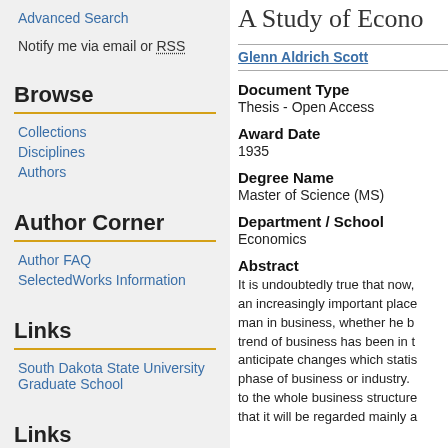Advanced Search
Notify me via email or RSS
Browse
Collections
Disciplines
Authors
Author Corner
Author FAQ
SelectedWorks Information
Links
South Dakota State University Graduate School
Links
A Study of Econo...
Glenn Aldrich Scott
Document Type
Thesis - Open Access
Award Date
1935
Degree Name
Master of Science (MS)
Department / School
Economics
Abstract
It is undoubtedly true that now, an increasingly important place... man in business, whether he b... trend of business has been in... anticipate changes which statis... phase of business or industry... to the whole business structure... that it will be regarded mainly a...